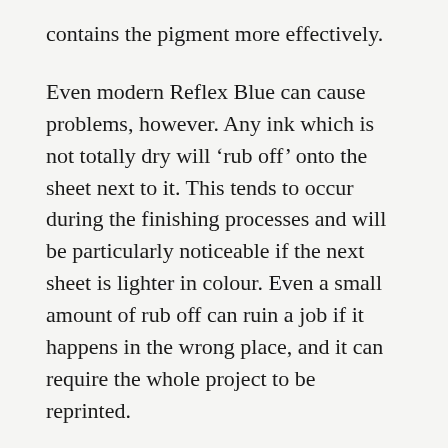contains the pigment more effectively.
Even modern Reflex Blue can cause problems, however. Any ink which is not totally dry will ‘rub off’ onto the sheet next to it. This tends to occur during the finishing processes and will be particularly noticeable if the next sheet is lighter in colour. Even a small amount of rub off can ruin a job if it happens in the wrong place, and it can require the whole project to be reprinted.
Fortunately there are a few ways to minimize or avoid the reflex blues.
Your printer could allow longer for drying in the production schedule, leave the job to dry in shorter stacks, or interleave the sheets with waste paper. However, the best way for printers to minimize the